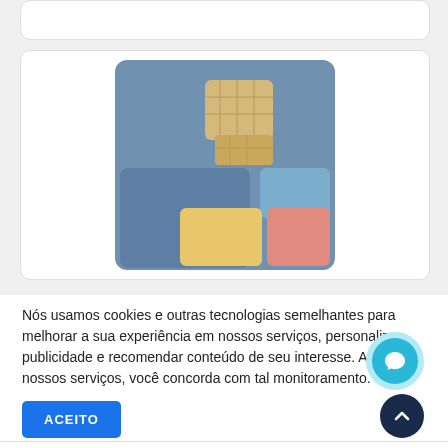[Figure (illustration): SIM card illustration showing a blue card background with a gold chip and colored square tiles (blue, yellow, salmon/pink)]
Nós usamos cookies e outras tecnologias semelhantes para melhorar a sua experiência em nossos serviços, personalizar publicidade e recomendar conteúdo de seu interesse. Ao utilizar nossos serviços, você concorda com tal monitoramento.
ACEITO